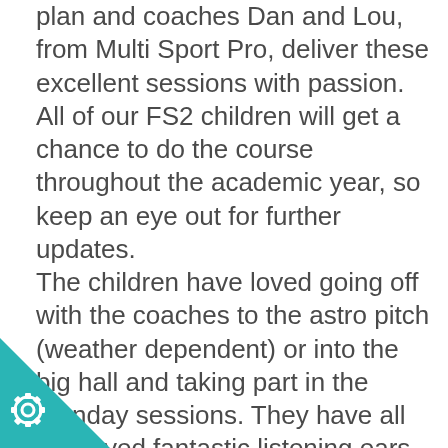plan and coaches Dan and Lou, from Multi Sport Pro, deliver these excellent sessions with passion. All of our FS2 children will get a chance to do the course throughout the academic year, so keep an eye out for further updates. The children have loved going off with the coaches to the astro pitch (weather dependent) or into the big hall and taking part in the Monday sessions. They have all displayed fantastic listening ears and looking eyes, and have followed all instructions with great care and have been super at waiting their turn. As soon as some of the children arrived on Monday morning one asked 'is it biking day?' and hen replied with 'YES! That is my favourite day e week!' when told it was, another joined in
[Figure (illustration): Teal/cyan triangular corner decoration in bottom-left with a white gear/cog icon]